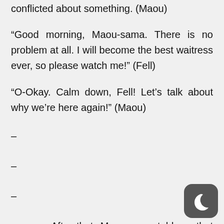conflicted about something.  (Maou)
“Good morning, Maou-sama. There is no problem at all. I will become the best waitress ever, so please watch me!” (Fell)
“O-Okay. Calm down, Fell! Let’s talk about why we’re here again!” (Maou)
–
–
–
After that, Maou-sama told me that my purpose